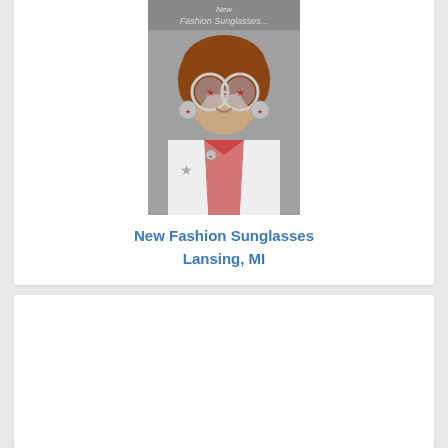[Figure (photo): A smiling woman wearing large circular fashion sunglasses with patriotic/star motifs, a white jacket with star decoration, and circular earrings. Text at top of image reads 'New Fashion Sunglasses...']
New Fashion Sunglasses
Lansing, MI